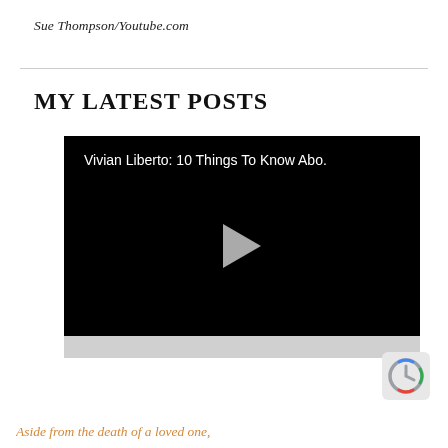Sue Thompson/Youtube.com
MY LATEST POSTS
[Figure (screenshot): A YouTube video embed with black background showing title 'Vivian Liberto: 10 Things To Know Abo.' and a play button in the center]
Aside from the death of a loved one,